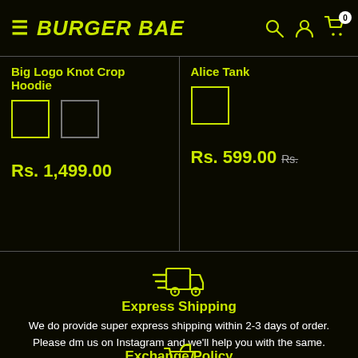BURGER BAE
Big Logo Knot Crop Hoodie
Rs. 1,499.00
Alice Tank
Rs. 599.00
[Figure (illustration): Express shipping truck icon with speed lines]
Express Shipping
We do provide super express shipping within 2-3 days of order. Please dm us on Instagram and we'll help you with the same.
[Figure (illustration): Exchange/return cart icon]
Exchange Policy